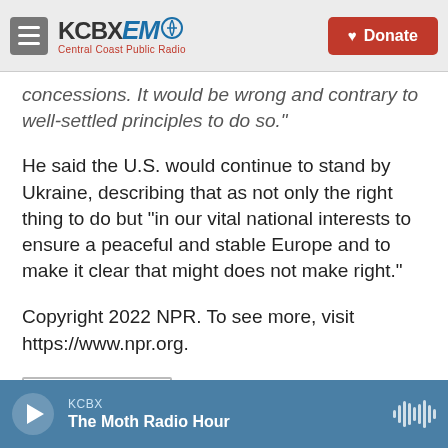KCBX FM Central Coast Public Radio | Donate
concessions. It would be wrong and contrary to well-settled principles to do so."
He said the U.S. would continue to stand by Ukraine, describing that as not only the right thing to do but "in our vital national interests to ensure a peaceful and stable Europe and to make it clear that might does not make right."
Copyright 2022 NPR. To see more, visit https://www.npr.org.
NPR Top News
KCBX The Moth Radio Hour